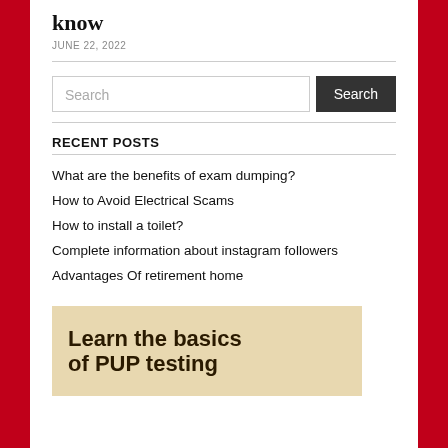know
JUNE 22, 2022
Search
RECENT POSTS
What are the benefits of exam dumping?
How to Avoid Electrical Scams
How to install a toilet?
Complete information about instagram followers
Advantages Of retirement home
[Figure (illustration): Promotional image with text: Learn the basics of PUP testing]